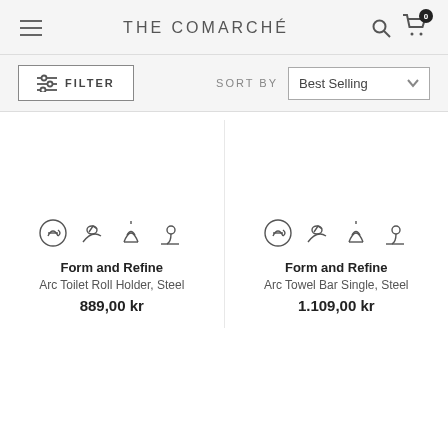THE COMARCHÉ
FILTER | SORT BY: Best Selling
[Figure (illustration): Product listing with icons for Form and Refine Arc Toilet Roll Holder Steel at 889,00 kr and Form and Refine Arc Towel Bar Single Steel at 1.109,00 kr]
Form and Refine
Arc Toilet Roll Holder, Steel
889,00 kr
Form and Refine
Arc Towel Bar Single, Steel
1.109,00 kr